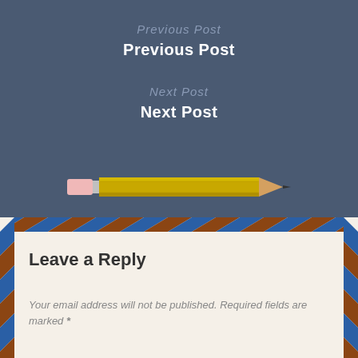Previous Post
Previous Post
Next Post
Next Post
[Figure (illustration): A yellow pencil illustration with pink eraser on the left and pointed tip on the right, shown horizontally]
Leave a Reply
Your email address will not be published. Required fields are marked *